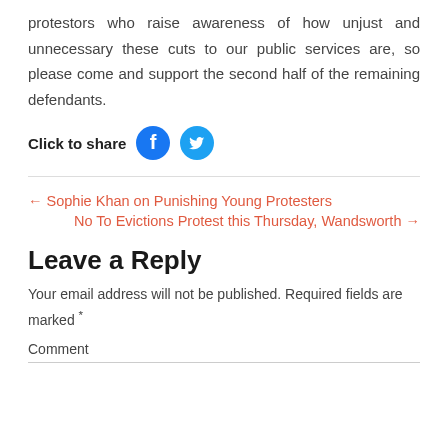protestors who raise awareness of how unjust and unnecessary these cuts to our public services are, so please come and support the second half of the remaining defendants.
[Figure (other): Click to share buttons with Facebook and Twitter icons]
← Sophie Khan on Punishing Young Protesters
No To Evictions Protest this Thursday, Wandsworth →
Leave a Reply
Your email address will not be published. Required fields are marked *
Comment